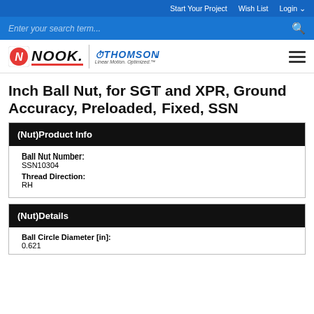Start Your Project  Wish List  Login
Enter your search term...
[Figure (logo): Nook Industries and Thomson Linear Motion Optimized logos with hamburger menu]
Inch Ball Nut, for SGT and XPR, Ground Accuracy, Preloaded, Fixed, SSN
(Nut)Product Info
Ball Nut Number: SSN10304
Thread Direction: RH
(Nut)Details
Ball Circle Diameter [in]: 0.621